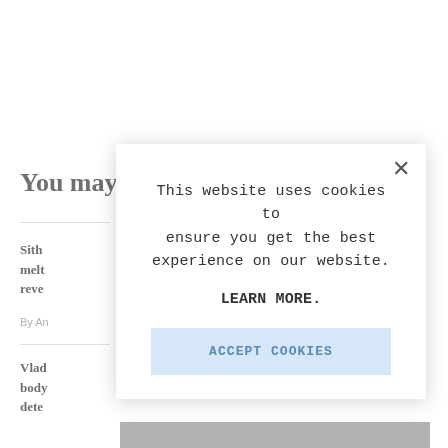You may like
Sith
melt
reve
By An
Vlad
body
dete
[Figure (screenshot): Cookie consent modal overlay on a webpage. Modal contains text: 'This website uses cookies to ensure you get the best experience on our website.' followed by 'LEARN MORE.' and an 'ACCEPT COOKIES' button. A close button (×) appears in the top-right corner of the modal.]